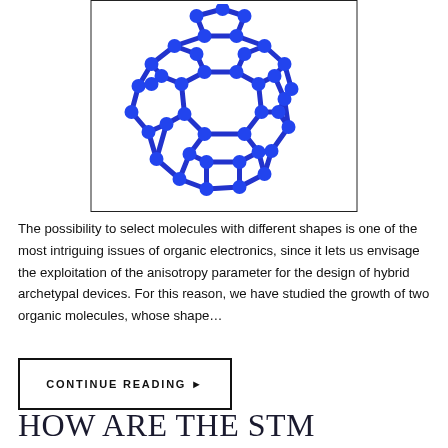[Figure (illustration): 3D molecular model of a buckyball (C60 fullerene) rendered in blue, showing interconnected hexagonal and pentagonal rings of atoms with bonds, displayed against a white background within a black border frame.]
The possibility to select molecules with different shapes is one of the most intriguing issues of organic electronics, since it lets us envisage the exploitation of the anisotropy parameter for the design of hybrid archetypal devices. For this reason, we have studied the growth of two organic molecules, whose shape…
CONTINUE READING ▶
HOW ARE THE STM IMAGES